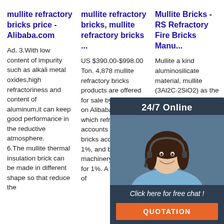mullite refractory bricks price - Alibaba.com
Ad. 3.With low content of impurity such as alkali metal oxides,high refractoriness and content of aluminum,it can keep good performance in the reductive atmosphere. 6.The mullite thermal insulation brick can be made in different shape so that reduce the
mullite refractory bricks, mullite refractory bricks ...
US $390.00-$998.00 Ton. 4,878 mullite refractory bricks products are offered for sale by suppliers on Alibaba.com, of which refractory accounts for 64%, bricks accounts for 1%, and brick making machinery accounts for 1%. A wide variety of
Mullite Bricks - RS Refractory Fire Bricks Manu...
Mullite a kind aluminosilicate material, mullite (3Al2O3·2SiO2) as the main crystal phase, contains 65~75% Al2O3 content. Mullite Brick is widely used in blast furnace, hot blast stove and glass melting furnace
[Figure (other): Customer service chat widget showing a woman with headset, '24/7 Online' header, 'Click here for free chat!' call to action, and orange QUOTATION button]